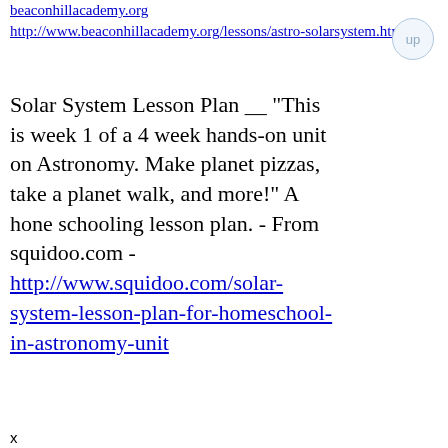beaconhillacademy.org
http://www.beaconhillacademy.org/lessons/astro-solarsystem.html
Solar System Lesson Plan __ "This is week 1 of a 4 week hands-on unit on Astronomy. Make planet pizzas, take a planet walk, and more!" A hone schooling lesson plan. - From squidoo.com - http://www.squidoo.com/solar-system-lesson-plan-for-homeschool-in-astronomy-unit
x